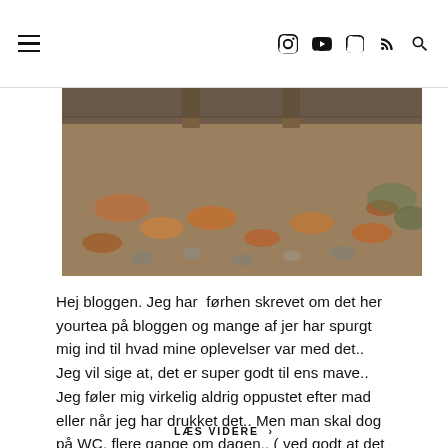Navigation header with hamburger menu and social icons (Instagram, YouTube, Snapchat, RSS, Search)
[Figure (photo): Overhead photo of autumn leaves, pebbles and stones on ground with railway tracks visible at top]
Hej bloggen. Jeg har  førhen skrevet om det her yourtea på bloggen og mange af jer har spurgt mig ind til hvad mine oplevelser var med det.. Jeg vil sige at, det er super godt til ens mave.. Jeg føler mig virkelig aldrig oppustet efter mad eller når jeg har drukket det.. Men man skal dog på WC, flere gange om dagen.. ( ved godt at det ikke...
LÆS VIDERE ›
💬 0  f  ✓  @  in